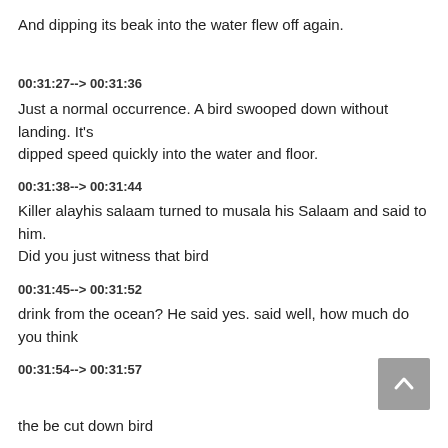And dipping its beak into the water flew off again.
00:31:27--> 00:31:36
Just a normal occurrence. A bird swooped down without landing. It's dipped speed quickly into the water and floor.
00:31:38--> 00:31:44
Killer alayhis salaam turned to musala his Salaam and said to him. Did you just witness that bird
00:31:45--> 00:31:52
drink from the ocean? He said yes. said well, how much do you think
00:31:54--> 00:31:57
the be cut down bird